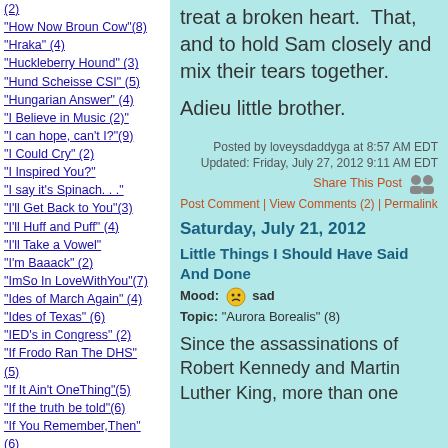(2)
"How Now Broun Cow"(8)
"Hraka" (4)
"Huckleberry Hound" (3)
"Hund Scheisse CSI" (5)
"Hungarian Answer" (4)
"I Believe in Music (2)"
"I can hope, can't I?"(9)
"I Could Cry" (2)
"I Inspired You?"
"I say it's Spinach. . ."
"I'll Get Back to You"(3)
"I'll Huff and Puff" (4)
"I'll Take a Vowel"
"I'm Baaack" (2)
"ImSo In LoveWithYou"(7)
"Ides of March Again" (4)
"Ides of Texas" (6)
"IED's in Congress" (2)
"If Frodo Ran The DHS" (5)
"If It Ain't OneThing"(5)
"If the truth be told"(6)
"If You Remember,Then" (6)
"If" (6)
"Imagine,General Newt" (6)
"Imitation of Life" (5)
treat a broken heart.  That, and to hold Sam closely and mix their tears together.
Adieu little brother.
Posted by loveysdaddyga at 8:57 AM EDT
Updated: Friday, July 27, 2012 9:11 AM EDT
Share This Post
Post Comment | View Comments (2) | Permalink
Saturday, July 21, 2012
Little Things I Should Have Said And Done
Mood: sad
Topic: "Aurora Borealis" (8)
Since the assassinations of Robert Kennedy and Martin Luther King, more than one